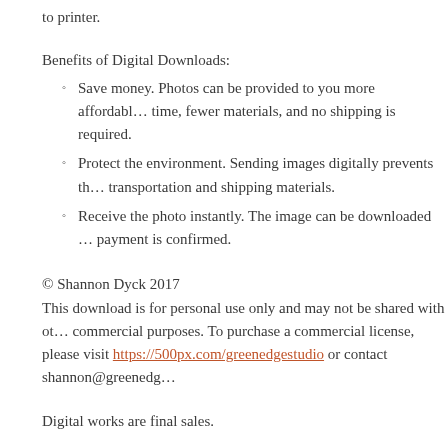to printer.
Benefits of Digital Downloads:
Save money. Photos can be provided to you more affordably — less time, fewer materials, and no shipping is required.
Protect the environment. Sending images digitally prevents the need for transportation and shipping materials.
Receive the photo instantly. The image can be downloaded as soon as payment is confirmed.
© Shannon Dyck 2017
This download is for personal use only and may not be shared with others or used for commercial purposes. To purchase a commercial license, please visit https://500px.com/greenedgestudio or contact shannon@greenedge...
Digital works are final sales.
Please read Green Edge Studio's Terms and Conditions before purcha...